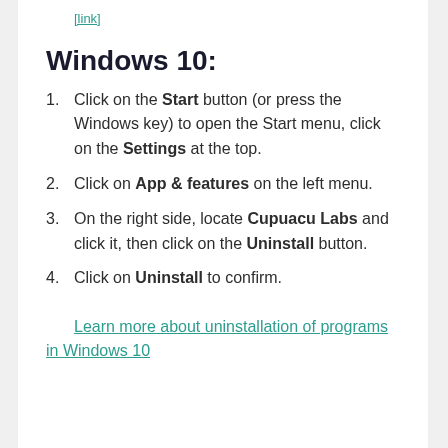[link truncated at top]
Windows 10:
Click on the Start button (or press the Windows key) to open the Start menu, click on the Settings at the top.
Click on App & features on the left menu.
On the right side, locate Cupuacu Labs and click it, then click on the Uninstall button.
Click on Uninstall to confirm.
Learn more about uninstallation of programs in Windows 10